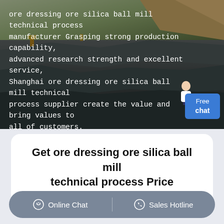[Figure (photo): Aerial/ground view of a mining/quarry operation with heavy machinery and excavated rocky terrain, dark grey tones]
ore dressing ore silica ball mill technical process manufacturer Grasping strong production capability, advanced research strength and excellent service, Shanghai ore dressing ore silica ball mill technical process supplier create the value and bring values to all of customers.
Get ore dressing ore silica ball mill technical process Price supplier@pfpew.com
Online Chat   |   Sales Hotline